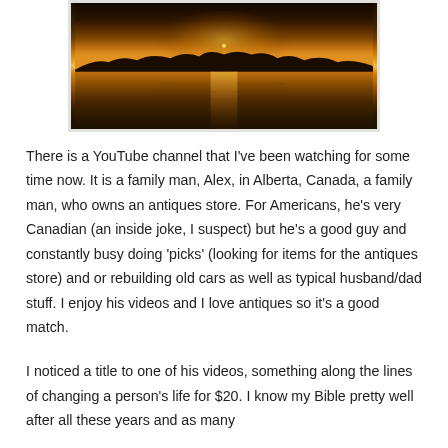[Figure (photo): A sunset over a body of water, with a bright orange sun reflected on the water surface, dark silhouetted treeline on the horizon, warm golden tones.]
There is a YouTube channel that I've been watching for some time now. It is a family man, Alex, in Alberta, Canada, a family man, who owns an antiques store. For Americans, he's very Canadian (an inside joke, I suspect) but he's a good guy and constantly busy doing 'picks' (looking for items for the antiques store) and or rebuilding old cars as well as typical husband/dad stuff. I enjoy his videos and I love antiques so it's a good match.
I noticed a title to one of his videos, something along the lines of changing a person's life for $20. I know my Bible pretty well after all these years and as many